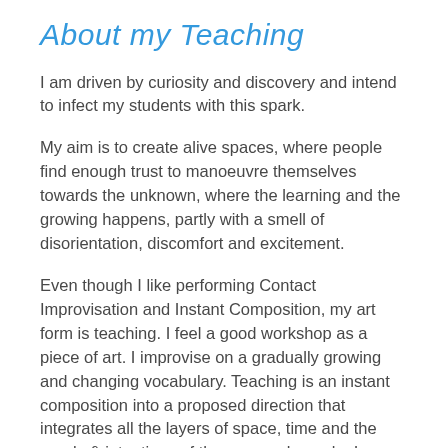About my Teaching
I am driven by curiosity and discovery and intend to infect my students with this spark.
My aim is to create alive spaces, where people find enough trust to manoeuvre themselves towards the unknown, where the learning and the growing happens, partly with a smell of disorientation, discomfort and excitement.
Even though I like performing Contact Improvisation and Instant Composition, my art form is teaching. I feel a good workshop as a piece of art. I improvise on a gradually growing and changing vocabulary. Teaching is an instant composition into a proposed direction that integrates all the layers of space, time and the needs & intentions of the engaged people. I see